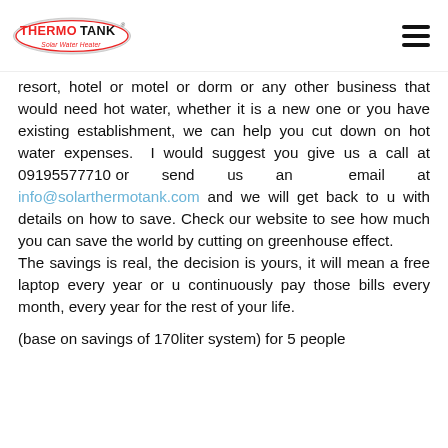ThermoTank Solar Water Heater [logo] [hamburger menu]
resort, hotel or motel or dorm or any other business that would need hot water, whether it is a new one or you have existing establishment, we can help you cut down on hot water expenses. I would suggest you give us a call at 09195577710 or send us an email at info@solarthermotank.com and we will get back to u with details on how to save. Check our website to see how much you can save the world by cutting on greenhouse effect.
The savings is real, the decision is yours, it will mean a free laptop every year or u continuously pay those bills every month, every year for the rest of your life.
(base on savings of 170liter system) for 5 people